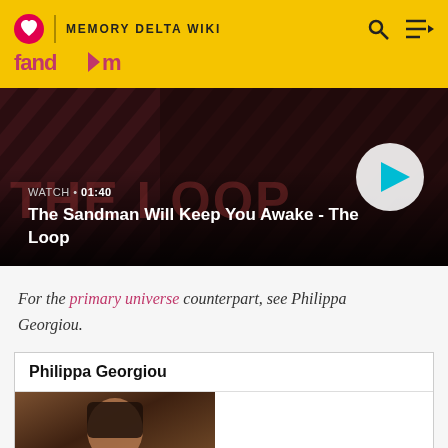MEMORY DELTA WIKI
[Figure (screenshot): Video thumbnail for 'The Sandman Will Keep You Awake - The Loop' with play button, WATCH 01:40 label, dark dramatic background]
For the primary universe counterpart, see Philippa Georgiou.
| Philippa Georgiou |
| --- |
| [image of Philippa Georgiou character] |